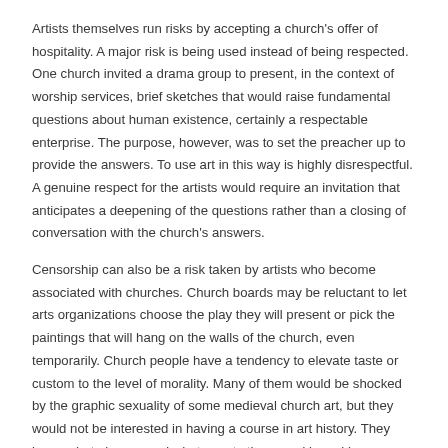Artists themselves run risks by accepting a church's offer of hospitality. A major risk is being used instead of being respected. One church invited a drama group to present, in the context of worship services, brief sketches that would raise fundamental questions about human existence, certainly a respectable enterprise. The purpose, however, was to set the preacher up to provide the answers. To use art in this way is highly disrespectful. A genuine respect for the artists would require an invitation that anticipates a deepening of the questions rather than a closing of conversation with the church's answers.
Censorship can also be a risk taken by artists who become associated with churches. Church boards may be reluctant to let arts organizations choose the play they will present or pick the paintings that will hang on the walls of the church, even temporarily. Church people have a tendency to elevate taste or custom to the level of morality. Many of them would be shocked by the graphic sexuality of some medieval church art, but they would not be interested in having a course in art history. They know what pleases and what upsets them, and in making judgments about art they have all the confidence enjoyed by those with limited information and narrow experience. A few encounters with such church leaders will convince the even most optimistic artist that true spiritual enquiry must take place outside the control of organized religion.